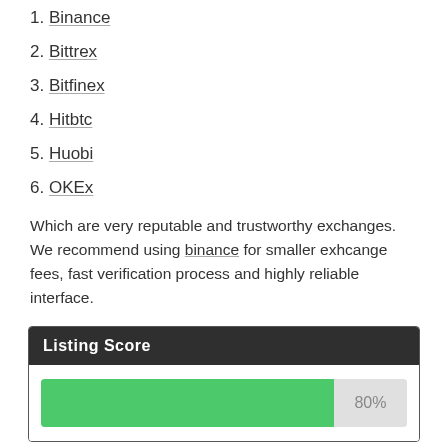1. Binance
2. Bittrex
3. Bitfinex
4. Hitbtc
5. Huobi
6. OKEx
Which are very reputable and trustworthy exchanges. We recommend using binance for smaller exhcange fees, fast verification process and highly reliable interface.
Listing Score
[Figure (bar-chart): Listing Score]